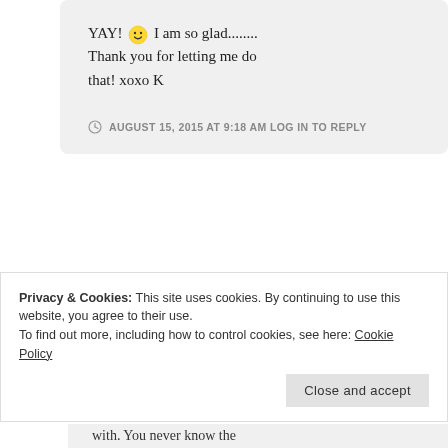YAY! 😀 I am so glad........ Thank you for letting me do that! xoxo K
AUGUST 15, 2015 AT 9:18 AM LOG IN TO REPLY
[Figure (photo): Circular avatar photo showing a nature scene with brown reeds and water]
Walking My Path: Mindful Wanderings in Nature
Privacy & Cookies: This site uses cookies. By continuing to use this website, you agree to their use.
To find out more, including how to control cookies, see here: Cookie Policy
Close and accept
with. You never know the